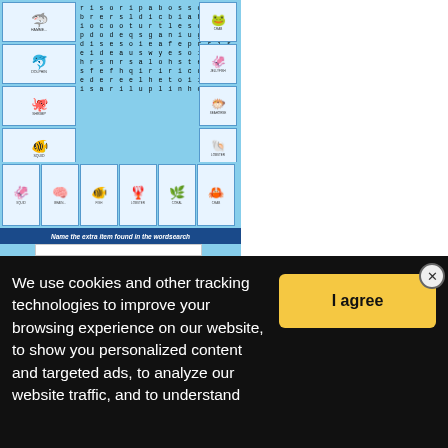[Figure (screenshot): Sea Animals Wordsearch worksheet preview showing a word search grid with sea animal images around it, animal thumbnails in bottom row]
Sea Animals Wordsearch
Level: elementary
Age: 8-17
Downloads: 195
[Figure (screenshot): Second preview of Sea Animals worksheet showing SEA ANIMALS title with unscramble activity and lobster/turtle illustrations]
[Figure (photo): Close-up photo of Jupiter's surface showing swirling cloud bands with a play button overlay indicating a video]
We use cookies and other tracking technologies to improve your browsing experience on our website, to show you personalized content and targeted ads, to analyze our website traffic, and to understand
I agree